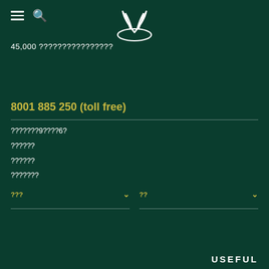Navigation header with hamburger menu, search icon, and logo
45,000 ????????????????
8001 885 250 (toll free)
???????9????6?
??????
??????
???????
??? (dropdown)
?? (dropdown)
USEFUL